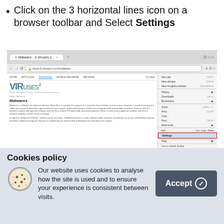Click on the 3 horizontal lines icon on a browser toolbar and Select Settings
[Figure (screenshot): Screenshot of a browser window showing the 2-viruses.com website with VIRUSES² logo and Malwares article, with a browser dropdown menu open showing Settings option highlighted with a red border.]
Cookies policy
Our website uses cookies to analyse how the site is used and to ensure your experience is consistent between visits.